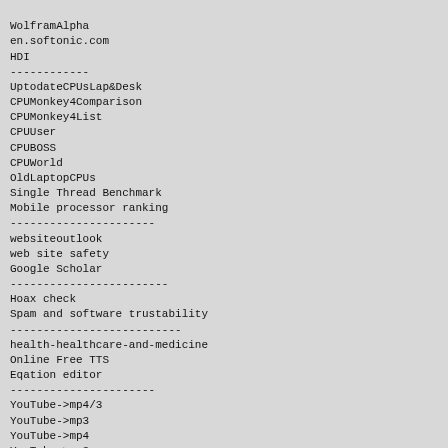WolframAlpha
en.softonic.com
HDI
------------
UptodateCPUsLap&Desk
CPUMonkey4Comparison
CPUMonkey4List
CPUUser
CPUBOSS
CPUWorld
OldLaptopCPUs
Single Thread Benchmark
Mobile processor ranking
----------------------
websiteoutlook
web site safety
Google Scholar
------------------------
Hoax check
Spam and software trustability
--------------------------
health-healthcare-and-medicine
Online Free TTS
Eqation editor
----------------------
YouTube->mp4/3
YouTube->mp3
YouTube->mp4
YouTube->mp3
YouTube->mp3
FB->mp4
Add CC 50MB 10min
------------
Thesaurus
Etymological Dictionary
yourdictionary